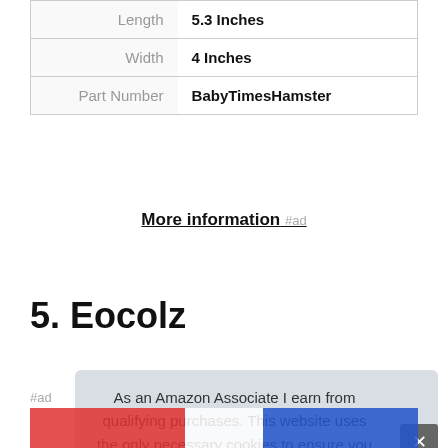| Length | 5.3 Inches |
| Width | 4 Inches |
| Part Number | BabyTimesHamster |
More information #ad
5. Eocolz
#ad
As an Amazon Associate I earn from qualifying purchases. This website uses the only necessary cookies to ensure you get the best experience on our website. More information